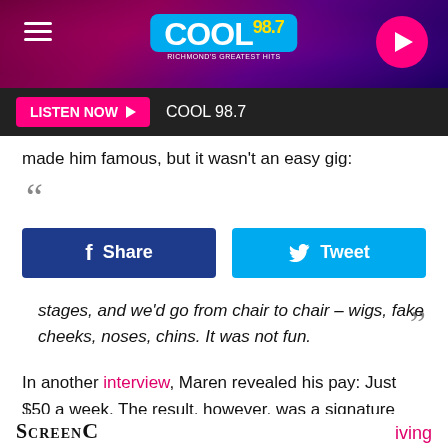[Figure (screenshot): Cool 98.7 radio station website header banner with purple/pink gradient background, hamburger menu icon on left, Cool 98.7 logo in center on cyan background, play button on right]
LISTEN NOW ▶   COOL 98.7
made him famous, but it wasn't an easy gig:
“
[Figure (infographic): Facebook Share button (dark blue) and Twitter Tweet button (cyan blue) side by side]
stages, and we'd go from chair to chair – wigs, fake cheeks, noses, chins. It was not fun. ”
In another interview, Maren revealed his pay: Just $50 a week. The result, however, was a signature moment in one of Hollywood's most enduring classics.
[Figure (screenshot): Pink banner reading THIS WIZARD OF OZ RE-EDIT IS A MASTERPIECE, with gray box below]
ScreenC ... iving